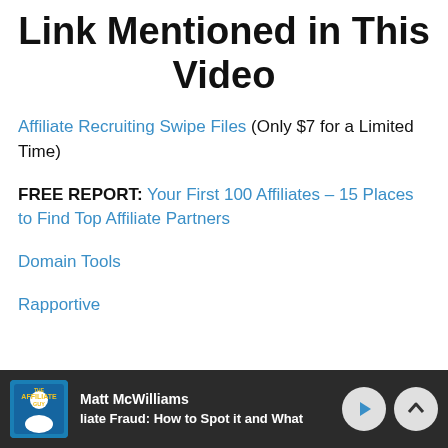Link Mentioned in This Video
Affiliate Recruiting Swipe Files (Only $7 for a Limited Time)
FREE REPORT: Your First 100 Affiliates – 15 Places to Find Top Affiliate Partners
Domain Tools
Rapportive
Matt McWilliams | liate Fraud: How to Spot it and What